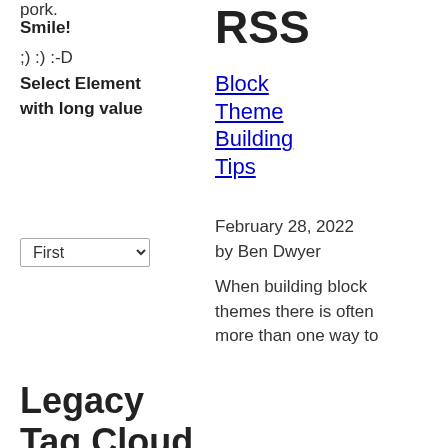pork.
Smile!
;) :) :-D
Select Element with long value
First (dropdown)
RSS
Block Theme Building Tips
February 28, 2022 by Ben Dwyer
When building block themes there is often more than one way to
Legacy Tag Cloud
alignment